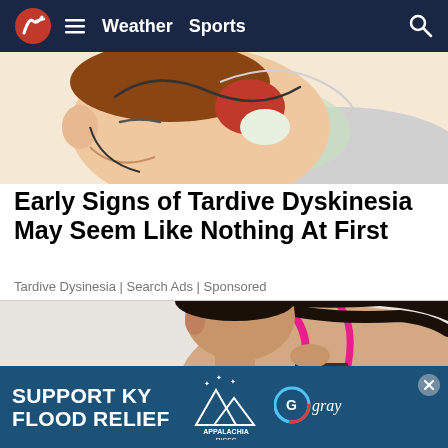Weather  Sports
[Figure (illustration): Cartoon illustration of a person lying down, showing facial/head area with reddish nose, partial face visible, suggesting sleep or discomfort]
Early Signs of Tardive Dyskinesia May Seem Like Nothing At First
Tardive Dysinesia | Search Ads | Sponsored
[Figure (photo): Photo of a young woman with dark hair in a ponytail, wearing a pink sports bra, looking downward with a concerned or pained expression, touching her chest area]
[Figure (infographic): Advertisement banner: SUPPORT KY FLOOD RELIEF with Appalachia Rises logo and Gray television network logo]